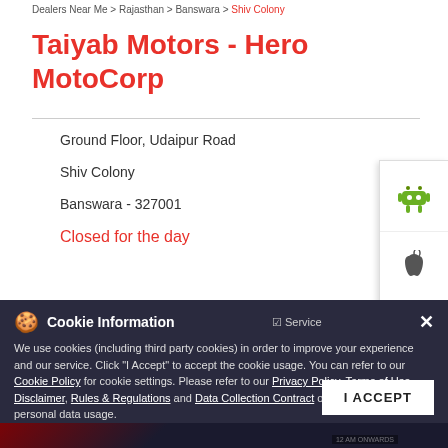Dealers Near Me > Rajasthan > Banswara > Shiv Colony
Taiyab Motors - Hero MotoCorp
Ground Floor, Udaipur Road
Shiv Colony
Banswara - 327001
Closed for the day
[Figure (screenshot): Cookie Information banner with text about cookie usage policy, links to Cookie Policy, Privacy Policy, Terms of Use, Disclaimer, Rules & Regulations and Data Collection Contract, with I ACCEPT button]
[Figure (photo): Bottom image strip showing motorcycle/PULSE bike with dark background and text SOME DUST]